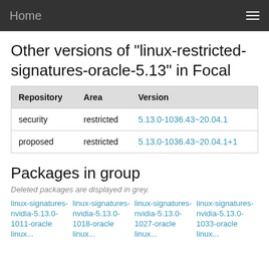Home
Other versions of "linux-restricted-signatures-oracle-5.13" in Focal
| Repository | Area | Version |
| --- | --- | --- |
| security | restricted | 5.13.0-1036.43~20.04.1 |
| proposed | restricted | 5.13.0-1036.43~20.04.1+1 |
Packages in group
Deleted packages are displayed in grey.
linux-signatures-nvidia-5.13.0-1011-oracle linux...
linux-signatures-nvidia-5.13.0-1018-oracle linux...
linux-signatures-nvidia-5.13.0-1027-oracle linux...
linux-signatures-nvidia-5.13.0-1033-oracle linux...